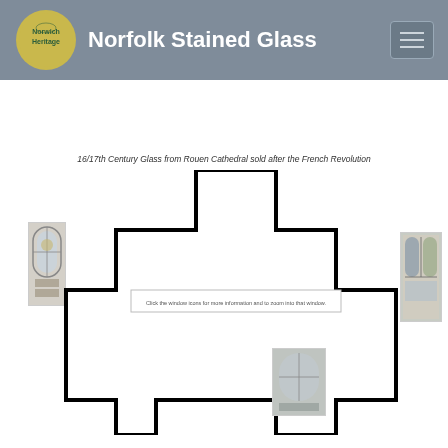Norfolk Stained Glass
16/17th Century Glass from Rouen Cathedral sold after the French Revolution
[Figure (schematic): Floor plan / church layout diagram showing a cross-shaped building outline in black, with three small stained glass window thumbnail images positioned around the perimeter (left side, right side, bottom). An info box inside reads: Click the window icons for more information and to zoom into that window.]
Click the window icons for more information and to zoom into that window.